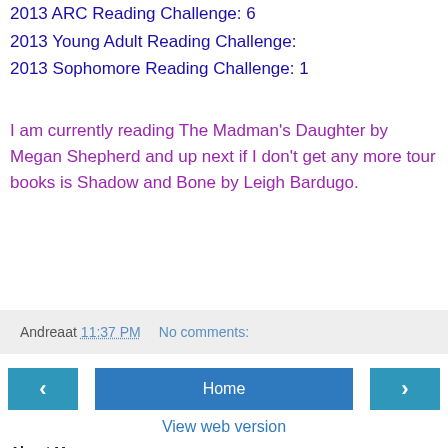2013 ARC Reading Challenge: 6
2013 Young Adult Reading Challenge:
2013 Sophomore Reading Challenge: 1
I am currently reading The Madman's Daughter by Megan Shepherd and up next if I don't get any more tour books is Shadow and Bone by Leigh Bardugo.
Andrea at 11:37 PM   No comments:
‹   Home   ›
View web version
About Me
Andrea
Welcome to my blog! I'm Andrea. I'm a Kindergarten teacher, addicted to running, reading, the Florida Gators, popcorn, and anything Disney! I have a wonderful hubby